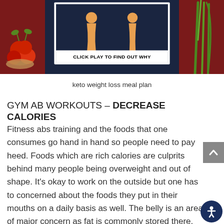[Figure (illustration): A promotional image with dark red border showing food items (tomatoes on left, green onions/scallions on right) flanking a dark blue center panel with two body silhouettes and the text 'CLICK PLAY TO FIND OUT WHY']
keto weight loss meal plan
GYM AB WORKOUTS – DECREASE CALORIES
Fitness abs training and the foods that one consumes go hand in hand so people need to pay heed. Foods which are rich calories are culprits behind many people being overweight and out of shape. It's okay to work on the outside but one has to concerned about the foods they put in their mouths on a daily basis as well. The belly is an area of major concern as fat is commonly stored there. This is why it is so important for people to abstain from eating fat foods that leave deposits of fat which are not